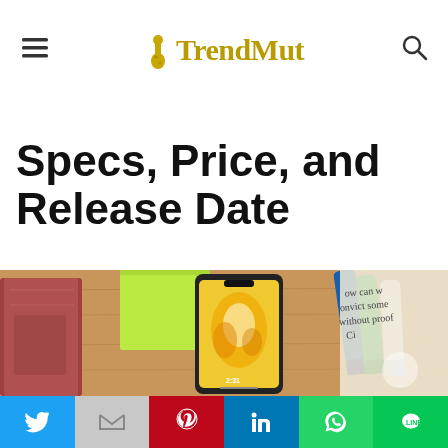TrendMut
Specs, Price, and Release Date
[Figure (photo): A smartphone displaying a colorful wallpaper (yellow flower) sitting on a wooden desk alongside a green sticky note, a red/brown book, markers, and a newspaper]
Social share bar: Twitter, Gmail, Pinterest, LinkedIn, WhatsApp, Line